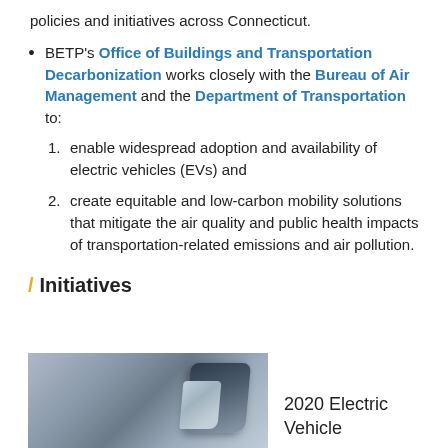policies and initiatives across Connecticut.
BETP's Office of Buildings and Transportation Decarbonization works closely with the Bureau of Air Management and the Department of Transportation to:
1. enable widespread adoption and availability of electric vehicles (EVs) and
2. create equitable and low-carbon mobility solutions that mitigate the air quality and public health impacts of transportation-related emissions and air pollution.
/ Initiatives
[Figure (photo): Photo of car side mirror from interior perspective]
2020 Electric Vehicle